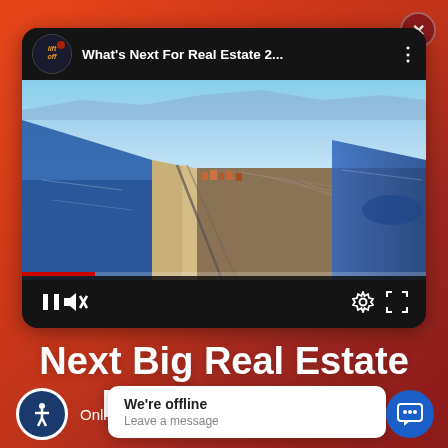[Figure (screenshot): A web popup/widget showing a video player with aerial coastal city view labeled 'What's Next For Real Estate 2...' with Liftoff logo, video controls (pause, mute, settings, fullscreen), followed by text 'Next Big Real Estate Event of 2022', bottom bar with accessibility icon, 'Online &' text, an offline chat popup saying 'We're offline / Leave a message', and a blue chat button. There is also a close (X) button in the top right corner.]